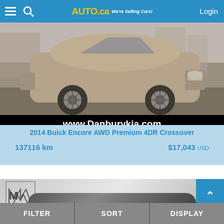Auta.ca We're Selling Cars! Login
[Figure (photo): 2014 Buick Encore AWD SUV in tan/gold color photographed from the side in a parking lot]
www.Danburykia.com
2014 Buick Encore AWD Premium 4DR Crossover
137116 km   $17,043 USD
[Figure (logo): Todd Maserati Alfa Romeo dealer logo with stylized M and R letters]
Todd Maserati Alfa Romeo of Danbury
FILTER   SORT   DISPLAY